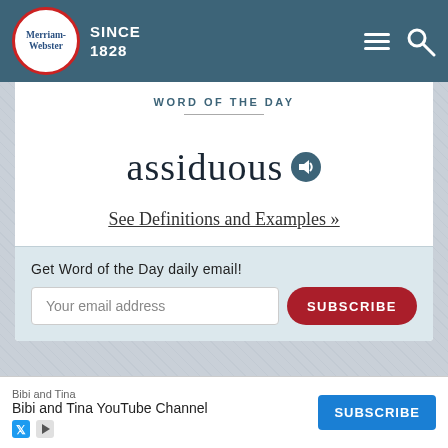Merriam-Webster SINCE 1828
WORD OF THE DAY
assiduous
See Definitions and Examples »
Get Word of the Day daily email!
Your email address
SUBSCRIBE
TEST YOUR VOCABULARY
Commonly Confused Words Quiz
Bibi and Tina
Bibi and Tina YouTube Channel
SUBSCRIBE